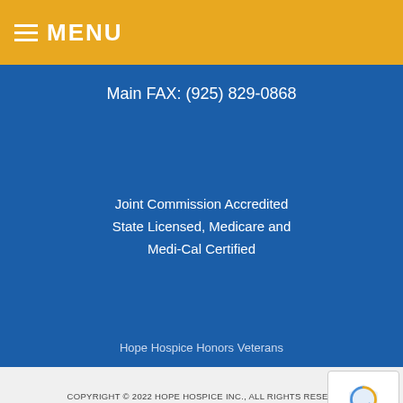MENU
Main FAX: (925) 829-0868
Joint Commission Accredited
State Licensed, Medicare and
Medi-Cal Certified
Hope Hospice Honors Veterans
COPYRIGHT © 2022 HOPE HOSPICE INC., ALL RIGHTS RESERVED.
PRIVACY POLICY — TERMS OF USE